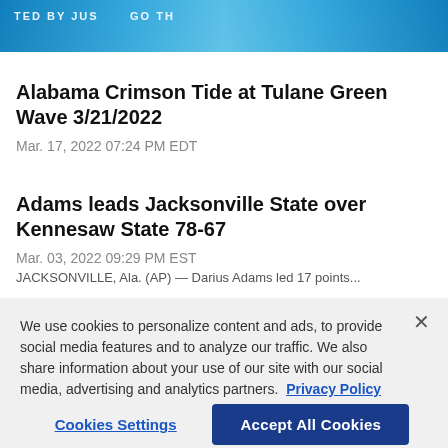[Figure (photo): Sports photo cropped at top — athletes in blue uniforms with text overlay]
Alabama Crimson Tide at Tulane Green Wave 3/21/2022
Mar. 17, 2022 07:24 PM EDT
Adams leads Jacksonville State over Kennesaw State 78-67
Mar. 03, 2022 09:29 PM EST
JACKSONVILLE, Ala. (AP) — Darius Adams led 17 points...
We use cookies to personalize content and ads, to provide social media features and to analyze our traffic. We also share information about your use of our site with our social media, advertising and analytics partners. Privacy Policy
Cookies Settings
Accept All Cookies